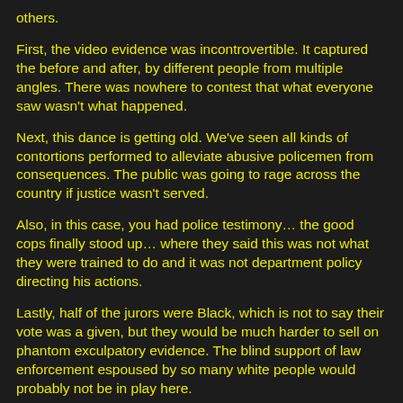others.
First, the video evidence was incontrovertible. It captured the before and after, by different people from multiple angles. There was nowhere to contest that what everyone saw wasn't what happened.
Next, this dance is getting old. We've seen all kinds of contortions performed to alleviate abusive policemen from consequences. The public was going to rage across the country if justice wasn't served.
Also, in this case, you had police testimony… the good cops finally stood up… where they said this was not what they were trained to do and it was not department policy directing his actions.
Lastly, half of the jurors were Black, which is not to say their vote was a given, but they would be much harder to sell on phantom exculpatory evidence. The blind support of law enforcement espoused by so many white people would probably not be in play here.